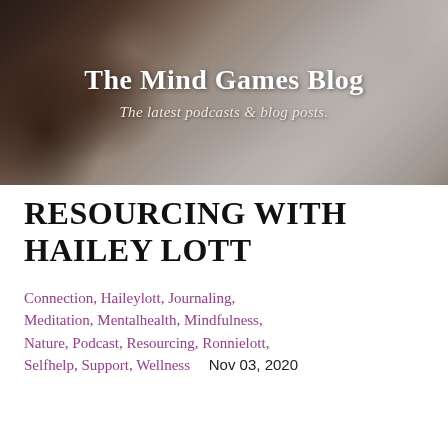[Figure (photo): Header banner photo of crystals and minerals on a dark wooden surface, with muted warm tones]
The Mind Games Blog
The latest podcasts & blog posts.
RESOURCING WITH HAILEY LOTT
Connection, Haileylott, Journaling, Meditation, Mentalhealth, Mindfulness, Nature, Podcast, Resourcing, Ronnielott, Selfhelp, Support, Wellness    Nov 03, 2020